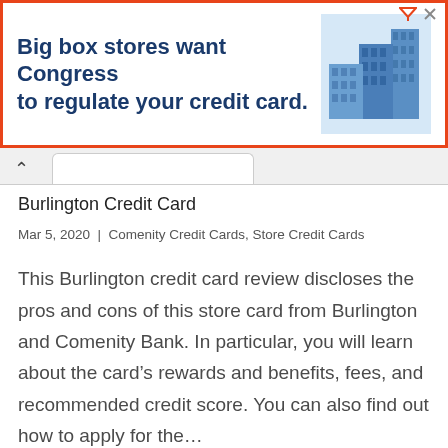[Figure (screenshot): Advertisement banner with orange border. Text reads: 'Big box stores want Congress to regulate your credit card.' with a blue building illustration on the right.]
Burlington Credit Card
Mar 5, 2020 | Comenity Credit Cards, Store Credit Cards
This Burlington credit card review discloses the pros and cons of this store card from Burlington and Comenity Bank. In particular, you will learn about the card's rewards and benefits, fees, and recommended credit score. You can also find out how to apply for the…